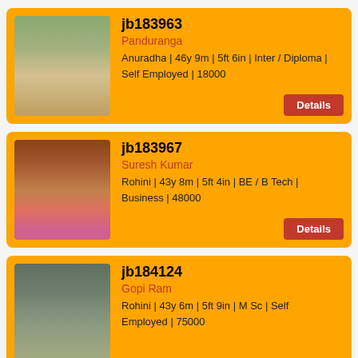[Figure (photo): Profile photo of man 1 for jb183963]
jb183963
Panduranga
Anuradha | 46y 9m | 5ft 6in | Inter / Diploma | Self Employed | 18000
Details
[Figure (photo): Profile photo of man 2 for jb183967]
jb183967
Suresh Kumar
Rohini | 43y 8m | 5ft 4in | BE / B Tech | Business | 48000
Details
[Figure (photo): Profile photo of man 3 for jb184124]
jb184124
Gopi Ram
Rohini | 43y 6m | 5ft 9in | M Sc | Self Employed | 75000